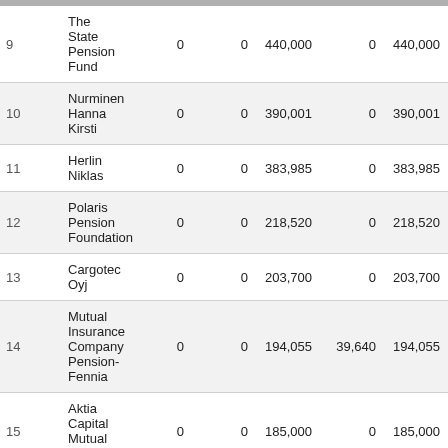| # | Name | Col1 | Col2 | Col3 | Col4 | Total |
| --- | --- | --- | --- | --- | --- | --- |
| 9 | The State Pension Fund | 0 | 0 | 440,000 | 0 | 440,000 |
| 10 | Nurminen Hanna Kirsti | 0 | 0 | 390,001 | 0 | 390,001 |
| 11 | Herlin Niklas | 0 | 0 | 383,985 | 0 | 383,985 |
| 12 | Polaris Pension Foundation | 0 | 0 | 218,520 | 0 | 218,520 |
| 13 | Cargotec Oyj | 0 | 0 | 203,700 | 0 | 203,700 |
| 14 | Mutual Insurance Company Pension-Fennia | 0 | 0 | 194,055 | 39,640 | 194,055 |
| 15 | Aktia Capital Mutual Fund | 0 | 0 | 185,000 | 0 | 185,000 |
| 16 | Blåberg Anna Karolina | 0 | 0 | 182,745 | 0 | 182,745 |
| 17 | OP-Delta Mutual Fund | 0 | 0 | 172,447 | -50,000 | 172,447 |